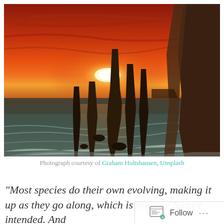[Figure (photo): Dramatic sunset photograph of the Twelve Apostles sea stacks along the Australian coast (Great Ocean Road). The sky is deep red-orange with a bright glowing sun near the horizon. Dark silhouetted rock formations rise from the ocean, with white surf washing around their bases. The rightmost cliff face is visible in close foreground.]
Photograph courtesy of Graham Holtshausen, Unsplash
“Most species do their own evolving, making it up as they go along, which is the way Nature intended. And